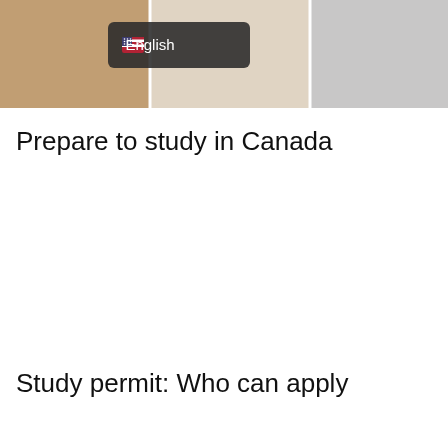[Figure (photo): Website screenshot showing a banner with students and a language selection button displaying a US flag icon and the text 'English']
Prepare to study in Canada
Study permit: Who can apply